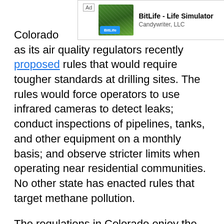[Figure (other): Advertisement banner for BitLife - Life Simulator by Candywriter, LLC with an Install! button]
Colorado [partially obscured by ad], as its air quality regulators recently proposed rules that would require tougher standards at drilling sites. The rules would force operators to use infrared cameras to detect leaks; conduct inspections of pipelines, tanks, and other equipment on a monthly basis; and observe stricter limits when operating near residential communities. No other state has enacted rules that target methane pollution.
The regulations in Colorado enjoy the support of several key industry players, including Anadarko, Encana, and Noble Energy. They agreed to the regulations because of public pressure to do so. State elections in early November saw four Colorado communities ban hydraulic fracturing. Oil and gas companies hope that by cooperating with regulators, they can quell opposition to drilling. Still, they caution that compliance with the rules will cost up to $80 million a year due to required inspections. The Colorado Department of Public Health and Environment estimated